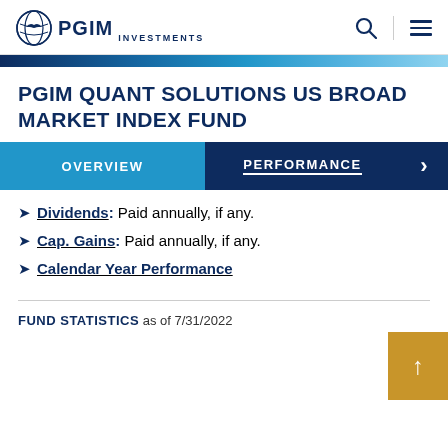PGIM INVESTMENTS
PGIM QUANT SOLUTIONS US BROAD MARKET INDEX FUND
OVERVIEW | PERFORMANCE
Dividends: Paid annually, if any.
Cap. Gains: Paid annually, if any.
Calendar Year Performance
FUND STATISTICS as of 7/31/2022